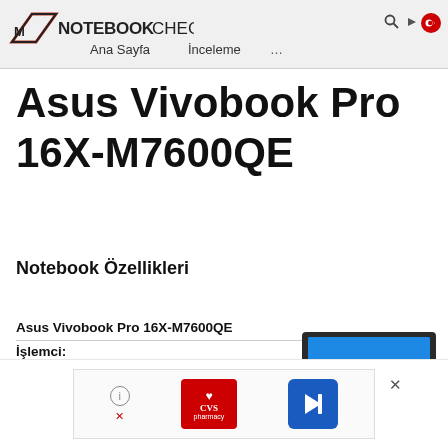NotebookCheck — Ana Sayfa  İnceleme  ...
Asus Vivobook Pro 16X-M7600QE
Notebook Özellikleri
Asus Vivobook Pro 16X-M7600QE
İşlemci:
AMD Ryzen 9 5900HX 8 x 3.3 - 4.6 GHz, 64 W PL2 / Short
[Figure (photo): Asus Vivobook Pro 16X-M7600QE laptop in Test Mode]
[Figure (other): Advertisement banner with CVS pharmacy logo and arrow icon]